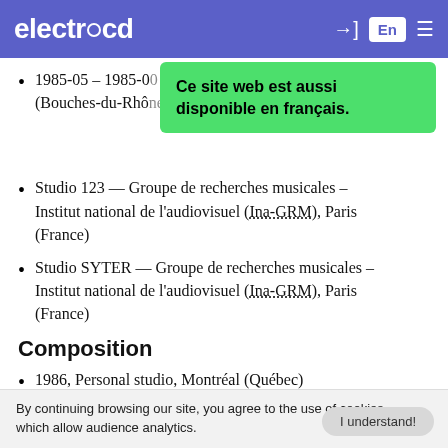electrocd | En
1985-05 – 1985-0[...] (Bouches-du-Rhô[...]
[Figure (other): Green tooltip overlay reading: Ce site web est aussi disponible en français.]
Studio 123 — Groupe de recherches musicales – Institut national de l'audiovisuel (Ina-GRM), Paris (France)
Studio SYTER — Groupe de recherches musicales – Institut national de l'audiovisuel (Ina-GRM), Paris (France)
Composition
1986, Personal studio, Montréal (Québec)
By continuing browsing our site, you agree to the use of cookies, which allow audience analytics.